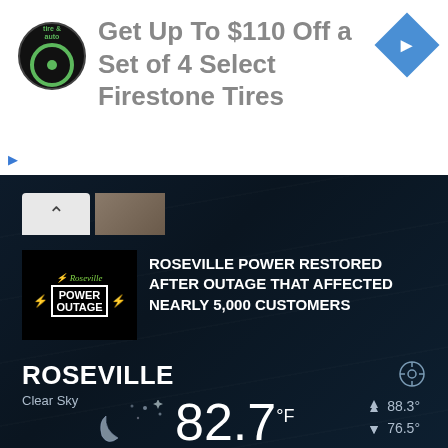[Figure (screenshot): Advertisement banner: Firestone Tires tire and auto logo circle on left, text 'Get Up To $110 Off a Set of 4 Select Firestone Tires', blue diamond navigation arrow on right]
[Figure (screenshot): News card with black thumbnail showing 'Roseville POWER OUTAGE' with lightning bolts, headline: ROSEVILLE POWER RESTORED AFTER OUTAGE THAT AFFECTED NEARLY 5,000 CUSTOMERS]
[Figure (infographic): Weather widget showing ROSEVILLE, Clear Sky, 82.7°F temperature with night sky icon, high 88.3°, low 76.5°]